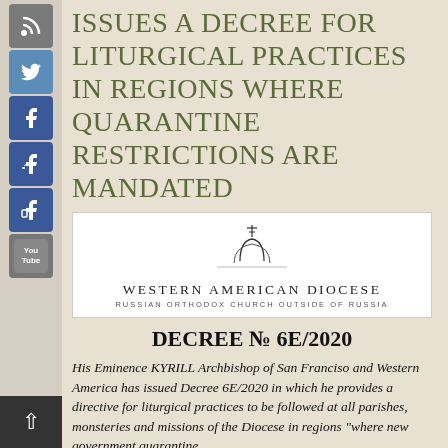issues a Decree for Liturgical Practices in Regions where Quarantine Restrictions are Mandated
[Figure (logo): Western American Diocese logo with Orthodox church dome icon, text: WESTERN AMERICAN DIOCESE / RUSSIAN ORTHODOX CHURCH OUTSIDE OF RUSSIA]
DECREE № 6E/2020
His Eminence KYRILL Archbishop of San Franciso and Western America has issued Decree 6E/2020 in which he provides a directive for liturgical practices to be followed at all parishes, monsteries and missions of the Diocese in regions "where new government quarantine